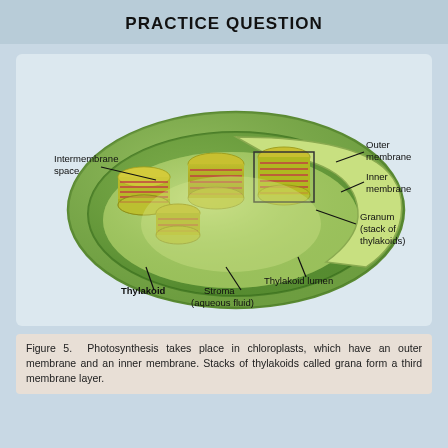PRACTICE QUESTION
[Figure (illustration): Labeled cross-section diagram of a chloroplast showing: Intermembrane space, Outer membrane, Inner membrane, Granum (stack of thylakoids), Thylakoid lumen, Stroma (aqueous fluid), Thylakoid]
Figure 5.  Photosynthesis takes place in chloroplasts, which have an outer membrane and an inner membrane. Stacks of thylakoids called grana form a third membrane layer.